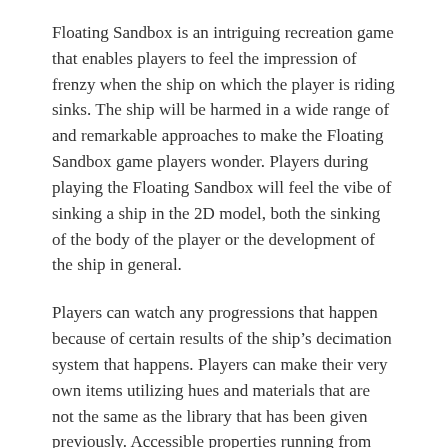Floating Sandbox is an intriguing recreation game that enables players to feel the impression of frenzy when the ship on which the player is riding sinks. The ship will be harmed in a wide range of and remarkable approaches to make the Floating Sandbox game players wonder. Players during playing the Floating Sandbox will feel the vibe of sinking a ship in the 2D model, both the sinking of the body of the player or the development of the ship in general.
Players can watch any progressions that happen because of certain results of the ship’s decimation system that happens. Players can make their very own items utilizing hues and materials that are not the same as the library that has been given previously. Accessible properties running from mass, quality, inflexibility, and different properties that reflect material science in a genuine